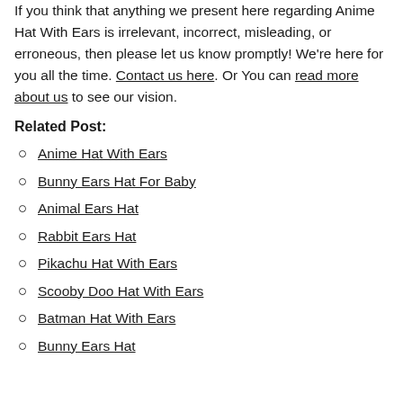If you think that anything we present here regarding Anime Hat With Ears is irrelevant, incorrect, misleading, or erroneous, then please let us know promptly! We're here for you all the time. Contact us here. Or You can read more about us to see our vision.
Related Post:
Anime Hat With Ears
Bunny Ears Hat For Baby
Animal Ears Hat
Rabbit Ears Hat
Pikachu Hat With Ears
Scooby Doo Hat With Ears
Batman Hat With Ears
Bunny Ears Hat